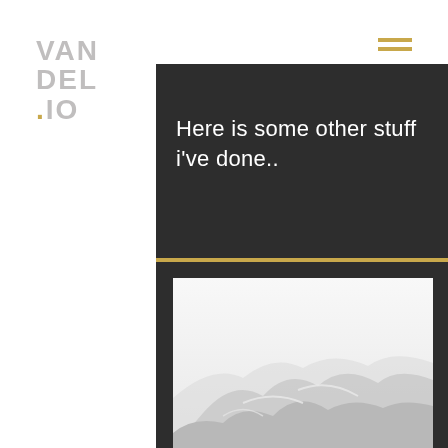VANDEL.IO
Here is some other stuff i've done..
[Figure (illustration): A horizontal gold/yellow divider line]
[Figure (photo): A minimalist photo of snow-capped mountains in a foggy/misty white sky]